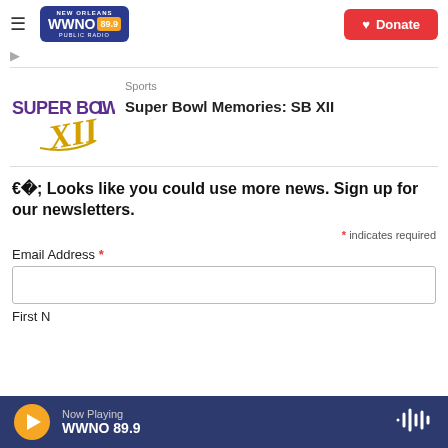WWNO 89.9 NEW ORLEANS PUBLIC RADIO — Donate
[Figure (logo): Super Bowl XII logo with purple and gold text]
Sports
Super Bowl Memories: SB XII
📰 Looks like you could use more news. Sign up for our newsletters.
* indicates required
Email Address *
First N
Now Playing WWNO 89.9